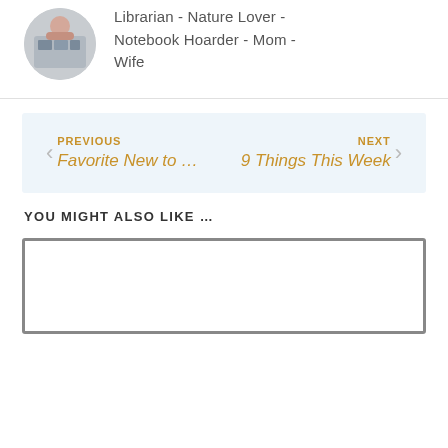Librarian - Nature Lover - Notebook Hoarder - Mom - Wife
PREVIOUS
Favorite New to …
NEXT
9 Things This Week
YOU MIGHT ALSO LIKE …
[Figure (other): Empty thumbnail placeholder box with dark border]